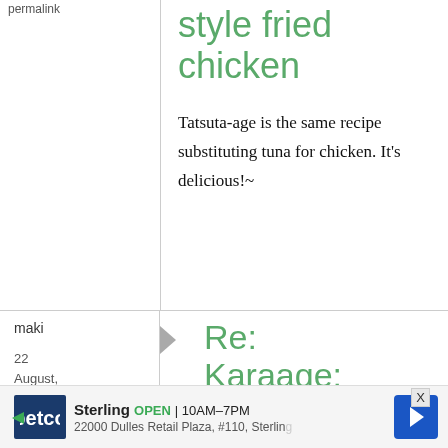permalink
style fried chicken
Tatsuta-age is the same recipe substituting tuna for chicken. It's delicious!~
maki
22 August, 2009 - 11:22
Re: Karaage: Japanese-
Sterling OPEN | 10AM–7PM 22000 Dulles Retail Plaza, #110, Sterling